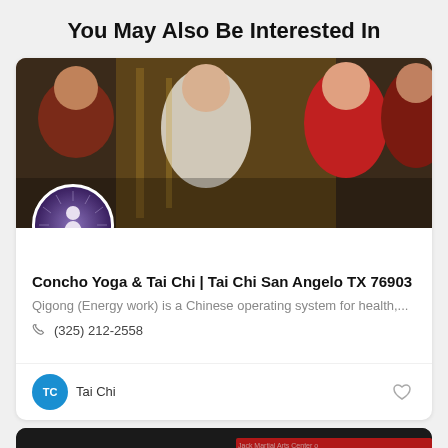You May Also Be Interested In
[Figure (photo): Group photo of people in red outfits and one in white, decorative backdrop, with a circular avatar logo overlay (person with yin-yang symbol on purple/dark background)]
Concho Yoga & Tai Chi | Tai Chi San Angelo TX 76903
Qigong (Energy work) is a Chinese operating system for health,...
(325) 212-2558
Tai Chi
[Figure (photo): Partial view of a dark image with red banner containing Chinese characters and text 'Martial Arts Center']